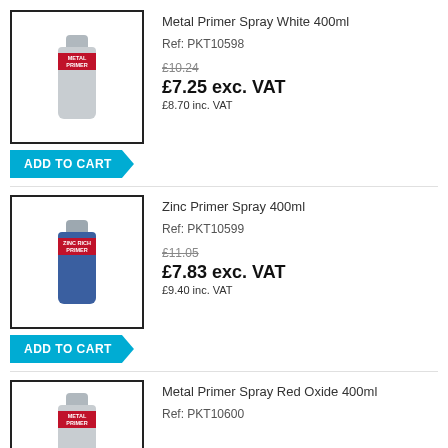[Figure (photo): Metal Primer Spray White 400ml product image in a bordered box]
Metal Primer Spray White 400ml
Ref: PKT10598
£10.24 (strikethrough) £7.25 exc. VAT £8.70 inc. VAT
ADD TO CART
[Figure (photo): Zinc Primer Spray 400ml product image in a bordered box]
Zinc Primer Spray 400ml
Ref: PKT10599
£11.05 (strikethrough) £7.83 exc. VAT £9.40 inc. VAT
ADD TO CART
[Figure (photo): Metal Primer Spray Red Oxide 400ml product image in a bordered box]
Metal Primer Spray Red Oxide 400ml
Ref: PKT10600